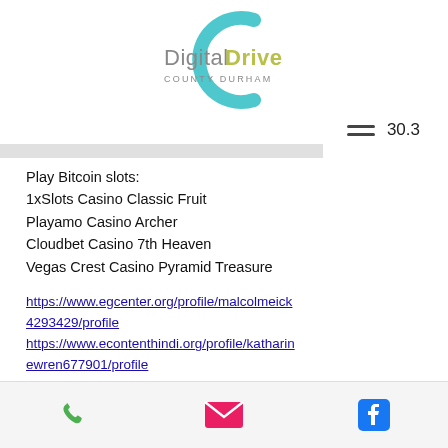[Figure (logo): Digital Drive County Durham logo with teal circular arc and olive/grey text]
≡ 30.3
Play Bitcoin slots:
1xSlots Casino Classic Fruit
Playamo Casino Archer
Cloudbet Casino 7th Heaven
Vegas Crest Casino Pyramid Treasure
https://www.egcenter.org/profile/malcolmeick4293429/profile
https://www.econtenthindi.org/profile/katharinewren677901/profile
https://www.healthylivingwithpam.com/profile
Phone | Email | Facebook